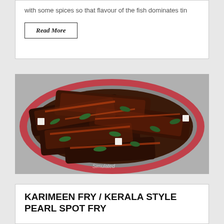with some spices so that flavour of the fish dominates tin
Read More
[Figure (photo): Kerala style fish fry served on a red plate, showing spiced fish pieces with curry leaves]
KARIMEEN FRY / KERALA STYLE PEARL SPOT FRY